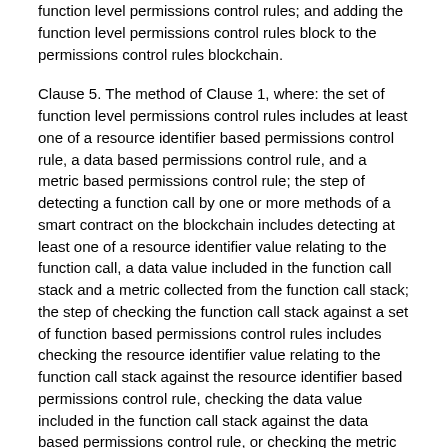function level permissions control rules; and adding the function level permissions control rules block to the permissions control rules blockchain.
Clause 5. The method of Clause 1, where: the set of function level permissions control rules includes at least one of a resource identifier based permissions control rule, a data based permissions control rule, and a metric based permissions control rule; the step of detecting a function call by one or more methods of a smart contract on the blockchain includes detecting at least one of a resource identifier value relating to the function call, a data value included in the function call stack and a metric collected from the function call stack; the step of checking the function call stack against a set of function based permissions control rules includes checking the resource identifier value relating to the function call stack against the resource identifier based permissions control rule, checking the data value included in the function call stack against the data based permissions control rule, or checking the metric collected from the function call stack against the metric based permissions control rule; and the step of, if the function call stack includes one or more